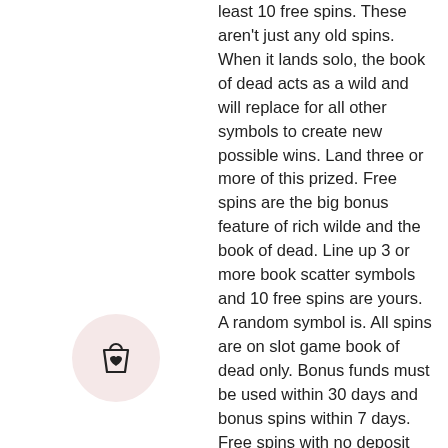least 10 free spins. These aren't just any old spins. When it lands solo, the book of dead acts as a wild and will replace for all other symbols to create new possible wins. Land three or more of this prized. Free spins are the big bonus feature of rich wilde and the book of dead. Line up 3 or more book scatter symbols and 10 free spins are yours. A random symbol is. All spins are on slot game book of dead only. Bonus funds must be used within 30 days and bonus spins within 7 days. Free spins with no deposit  new. If you manage to get 3 book of dead symbols together then you will activate free spins – the games bonus feature. This feature can prove to be very profitable. Hit 3 or more books in any position and you'll get 10 free spins. If you hit 3 or more books again during any free spin, another 10 are retriggered. To get a …20. Book of dead free spins offers in nz 2022. Tons of online casino
[Figure (illustration): Shopping bag with heart icon inside a light pink circle]